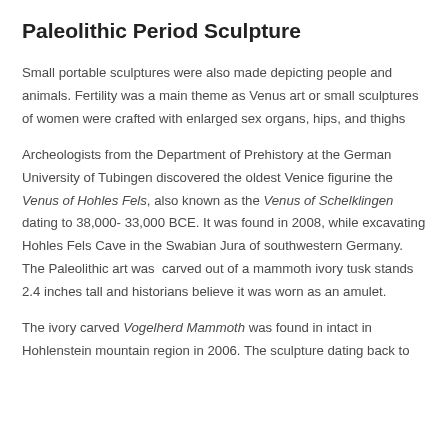Paleolithic Period Sculpture
Small portable sculptures were also made depicting people and animals. Fertility was a main theme as Venus art or small sculptures of women were crafted with enlarged sex organs, hips, and thighs
Archeologists from the Department of Prehistory at the German University of Tubingen discovered the oldest Venice figurine the Venus of Hohles Fels, also known as the Venus of Schelklingen dating to 38,000- 33,000 BCE. It was found in 2008, while excavating Hohles Fels Cave in the Swabian Jura of southwestern Germany. The Paleolithic art was  carved out of a mammoth ivory tusk stands 2.4 inches tall and historians believe it was worn as an amulet.
The ivory carved Vogelherd Mammoth was found in intact in Hohlenstein mountain region in 2006. The sculpture dating back to